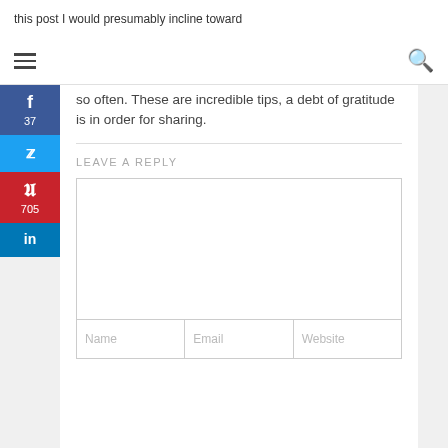this post I would presumably incline toward
so often. These are incredible tips, a debt of gratitude is in order for sharing.
LEAVE A REPLY